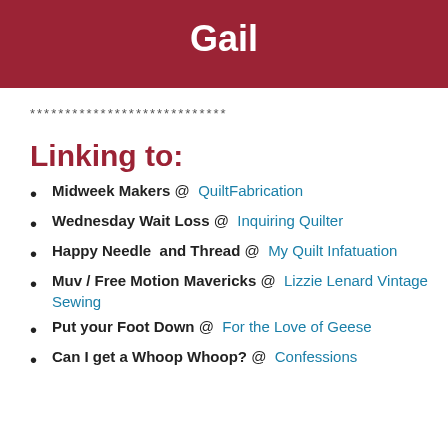Gail
****************************
Linking to:
Midweek Makers @  QuiltFabrication
Wednesday Wait Loss @  Inquiring Quilter
Happy Needle  and Thread @  My Quilt Infatuation
Muv / Free Motion Mavericks @  Lizzie Lenard Vintage Sewing
Put your Foot Down @  For the Love of Geese
Can I get a Whoop Whoop? @  Confessions